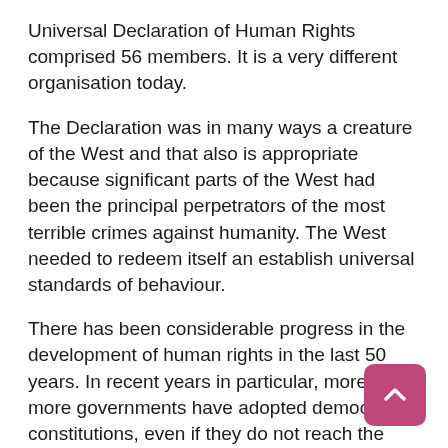Universal Declaration of Human Rights comprised 56 members. It is a very different organisation today.
The Declaration was in many ways a creature of the West and that also is appropriate because significant parts of the West had been the principal perpetrators of the most terrible crimes against humanity. The West needed to redeem itself an establish universal standards of behaviour.
There has been considerable progress in the development of human rights in the last 50 years. In recent years in particular, more and more governments have adopted democratic constitutions, even if they do not reach the purist form with which America or Britain would regard their constitutions. We now call Russia a democracy. If their constitution